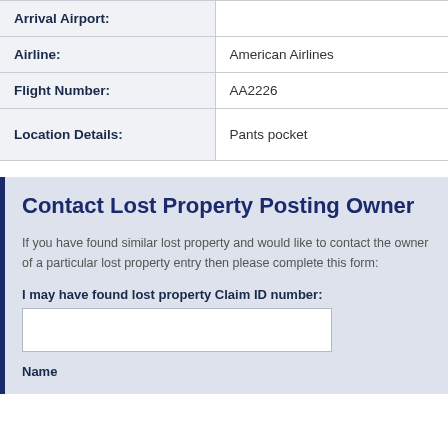| Arrival Airport: |  |
| Airline: | American Airlines |
| Flight Number: | AA2226 |
| Location Details: | Pants pocket |
Contact Lost Property Posting Owner
If you have found similar lost property and would like to contact the owner of a particular lost property entry then please complete this form:
I may have found lost property Claim ID number:
Name